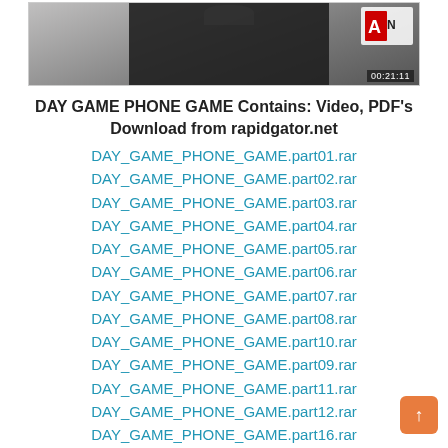[Figure (screenshot): Video thumbnail showing a person in dark clothing seated at a table, with a logo in upper-right corner and a timer '00:21:11' in lower-right.]
DAY GAME PHONE GAME Contains: Video, PDF's
Download from rapidgator.net
DAY_GAME_PHONE_GAME.part01.rar
DAY_GAME_PHONE_GAME.part02.rar
DAY_GAME_PHONE_GAME.part03.rar
DAY_GAME_PHONE_GAME.part04.rar
DAY_GAME_PHONE_GAME.part05.rar
DAY_GAME_PHONE_GAME.part06.rar
DAY_GAME_PHONE_GAME.part07.rar
DAY_GAME_PHONE_GAME.part08.rar
DAY_GAME_PHONE_GAME.part10.rar
DAY_GAME_PHONE_GAME.part09.rar
DAY_GAME_PHONE_GAME.part11.rar
DAY_GAME_PHONE_GAME.part12.rar
DAY_GAME_PHONE_GAME.part16.rar